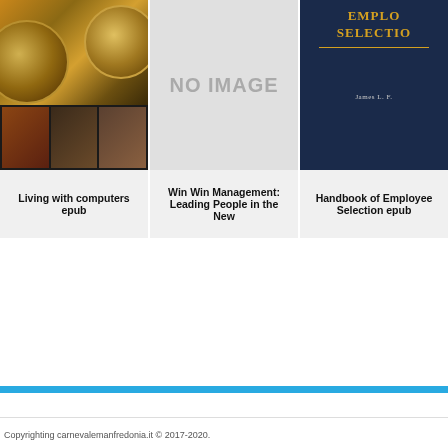[Figure (photo): Book cover for 'Living with computers epub' showing tech imagery with circular disk/wafer shapes and small people photos]
Living with computers epub
[Figure (other): No image placeholder (gray box with 'NO IMAGE' text) for 'Win Win Management: Leading People in the New']
Win Win Management: Leading People in the New
[Figure (photo): Book cover for 'Handbook of Employee Selection epub', dark navy blue with gold title text and author name James L. F...]
Handbook of Employee Selection epub
Copyrighting carnevalemanfredonia.it © 2017-2020.